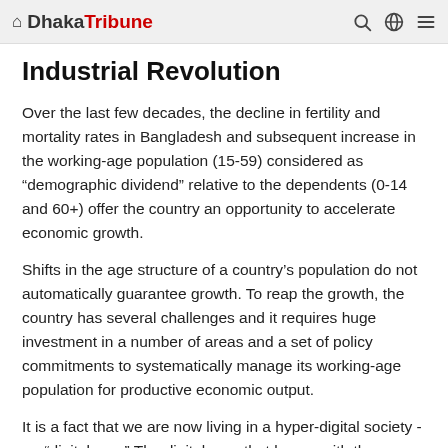Dhaka Tribune
Industrial Revolution
Over the last few decades, the decline in fertility and mortality rates in Bangladesh and subsequent increase in the working-age population (15-59) considered as “demographic dividend” relative to the dependents (0-14 and 60+) offer the country an opportunity to accelerate economic growth.
Shifts in the age structure of a country’s population do not automatically guarantee growth. To reap the growth, the country has several challenges and it requires huge investment in a number of areas and a set of policy commitments to systematically manage its working-age population for productive economic output.
It is a fact that we are now living in a hyper-digital society -- a “digital age.” The digital age, that began with the internet and mobile technologies, plunges